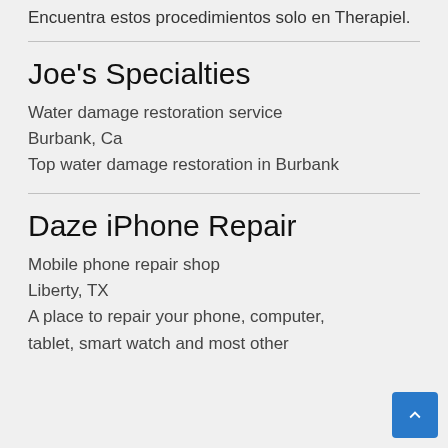Encuentra estos procedimientos solo en Therapiel.
Joe’s Specialties
Water damage restoration service
Burbank, Ca
Top water damage restoration in Burbank
Daze iPhone Repair
Mobile phone repair shop
Liberty, TX
A place to repair your phone, computer, tablet, smart watch and most other